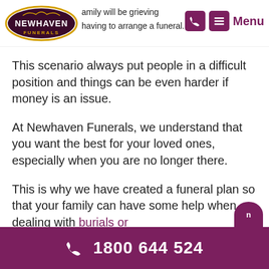Newhaven Funerals — navigation header with logo, phone icon, menu icon and Menu label
…amily will be grieving without having to arrange a funeral.
This scenario always put people in a difficult position and things can be even harder if money is an issue.
At Newhaven Funerals, we understand that you want the best for your loved ones, especially when you are no longer there.
This is why we have created a funeral plan so that your family can have some help when dealing with burials or
1800 644 524